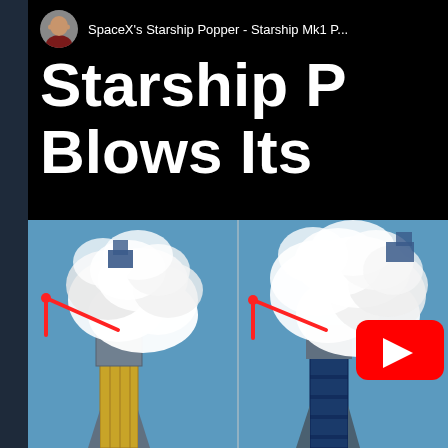[Figure (screenshot): YouTube video thumbnail screenshot showing SpaceX Starship Mk1 Popper explosion. Top half: black background with channel avatar, channel name 'SpaceX's Starship Popper - Starship Mk1 P...' and large bold white text reading 'Starship P... Blows Its'. Bottom half: side-by-side photos of Starship Mk1 tank during pressurization test explosion with large white smoke cloud and red annotation arrows. Right panel has YouTube play button overlay.]